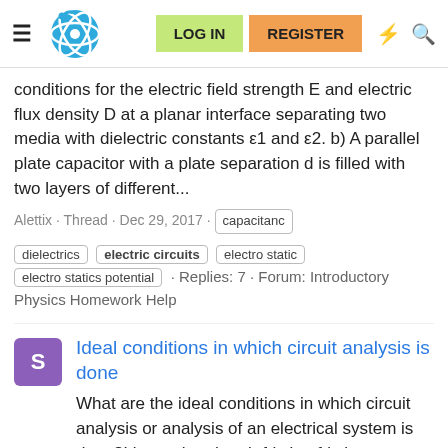≡ [logo] LOG IN REGISTER ⚡ 🔍
conditions for the electric field strength E and electric flux density D at a planar interface separating two media with dielectric constants ε1 and ε2. b) A parallel plate capacitor with a plate separation d is filled with two layers of different...
Alettix · Thread · Dec 29, 2017 · capacitanc
dielectrics | electric circuits | electro static | electro statics potential · Replies: 7 · Forum: Introductory Physics Homework Help
Ideal conditions in which circuit analysis is done
What are the ideal conditions in which circuit analysis or analysis of an electrical system is done?I know that the air friction,friction between materials is ignored in ideal systems, such as for